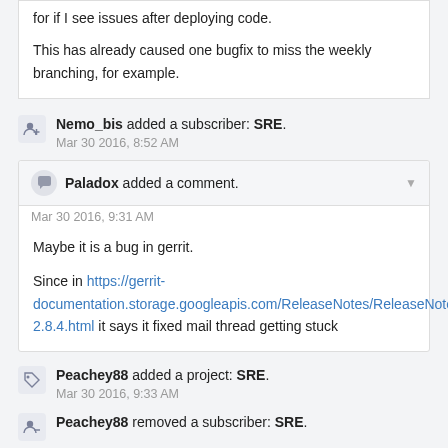for if I see issues after deploying code.

This has already caused one bugfix to miss the weekly branching, for example.
Nemo_bis added a subscriber: SRE.
Mar 30 2016, 8:52 AM
Paladox added a comment.
Mar 30 2016, 9:31 AM
Maybe it is a bug in gerrit.

Since in https://gerrit-documentation.storage.googleapis.com/ReleaseNotes/ReleaseNotes-2.8.4.html it says it fixed mail thread getting stuck
Peachey88 added a project: SRE.
Mar 30 2016, 9:33 AM
Peachey88 removed a subscriber: SRE.
demon added a comment.